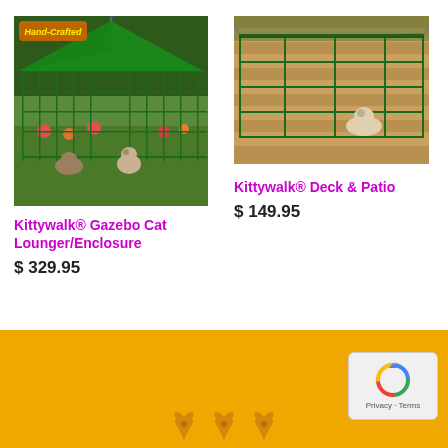[Figure (photo): Kittywalk Gazebo Cat Lounger outdoor enclosure with green netting and peaked roof, two cats inside on grass, 'Hand-Crafted' label visible]
[Figure (photo): Kittywalk Deck and Patio rectangular green mesh cat enclosure on a deck with a cat inside]
Kittywalk® Gazebo Cat Lounger/Enclosure
$ 329.95
Kittywalk® Deck & Patio
$ 149.95
[Figure (other): Orange/amber footer bar with decorative fleur-de-lis icons and a reCAPTCHA Privacy/Terms badge in the bottom right]